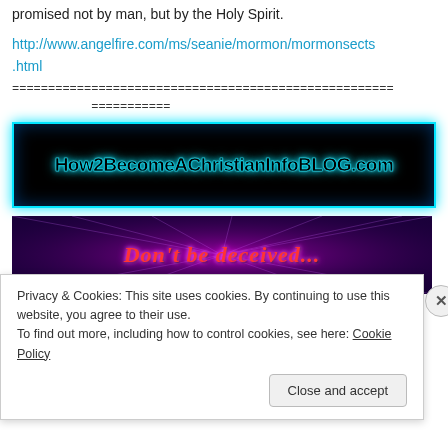promised not by man, but by the Holy Spirit.
http://www.angelfire.com/ms/seanie/mormon/mormonsects.html
=======================================================
            ===========
[Figure (illustration): Black banner with cyan/teal glowing border and text 'How2BecomeAChristianInfoBLOG.com' in bold gothic font with cyan neon glow effect]
[Figure (illustration): Dark purple/magenta banner with light rays and text 'Don't be deceived...' in red italic font with pink glow]
Privacy & Cookies: This site uses cookies. By continuing to use this website, you agree to their use.
To find out more, including how to control cookies, see here: Cookie Policy
Close and accept